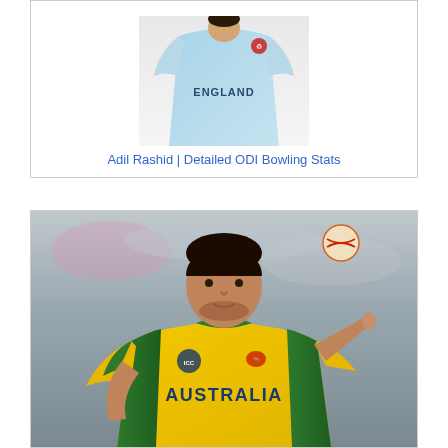[Figure (photo): England cricket player wearing light blue jersey with 'ENGLAND' text, partial body view from waist up]
Adil Rashid | Detailed ODI Bowling Stats
[Figure (photo): Australian cricket player in yellow and green 'AUSTRALIA' ODI jersey catching or receiving a cricket ball, outdoor stadium background]